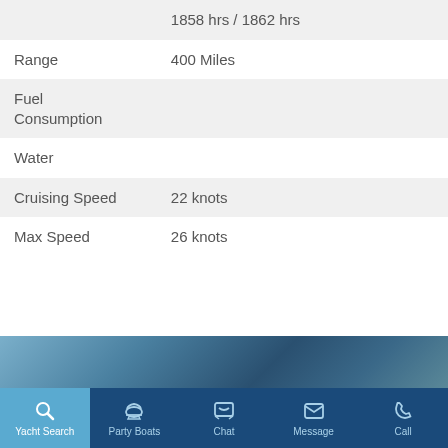|  | 1858 hrs / 1862 hrs |
| Range | 400 Miles |
| Fuel
Consumption |  |
| Water |  |
| Cruising Speed | 22 knots |
| Max Speed | 26 knots |
[Figure (photo): Partial view of a marina or dock with boats, shown as a narrow photo strip]
Yacht Search | Party Boats | Chat | Message | Call